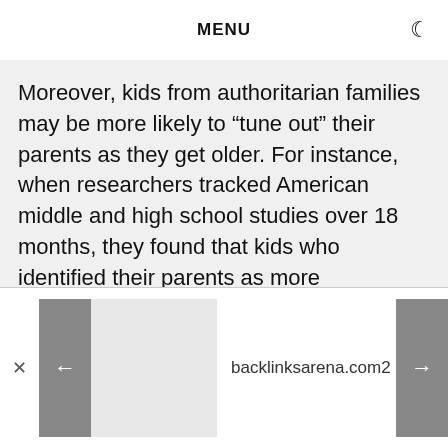MENU
Moreover, kids from authoritarian families may be more likely to “tune out” their parents as they get older. For instance, when researchers tracked American middle and high school studies over 18 months, they found that kids who identified their parents as more authoritarian were more likely to reject their parents as legitimate authority figures. They were also more likely to engage in delinquency over time (Trinker et al 2012).
backlinksarena.com2